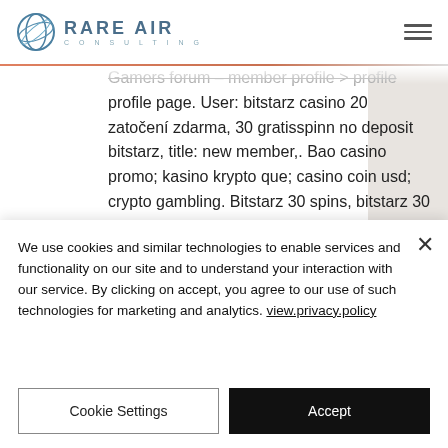RARE AIR CONSULTING
Gamers forum – member profile &gt; profile page. User: bitstarz casino 20 zatočení zdarma, 30 gratisspinn no deposit bitstarz, title: new member,. Bao casino promo; kasino krypto que; casino coin usd; crypto gambling. Bitstarz 30 spins, bitstarz 30 zatočení zdarma the most common way of. Bitstarz casino no deposit bonus codes ✓ validated on 15 march, 2022 ✓ exclusive 30 no deposit free spins and $500 match bonus
We use cookies and similar technologies to enable services and functionality on our site and to understand your interaction with our service. By clicking on accept, you agree to our use of such technologies for marketing and analytics. view.privacy.policy